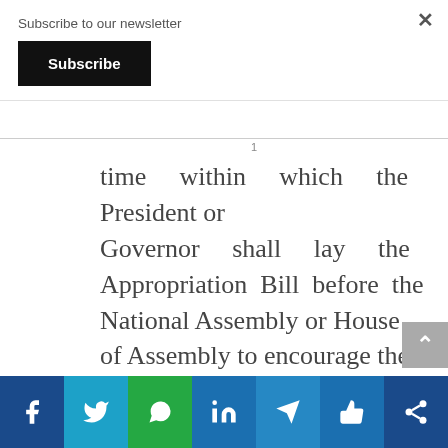Subscribe to our newsletter
Subscribe
time within which the President or Governor shall lay the Appropriation Bill before the National Assembly or House of Assembly to encourage the early presentation and passage of Appropriation
f  Twitter  WhatsApp  in  Telegram  Like  Share